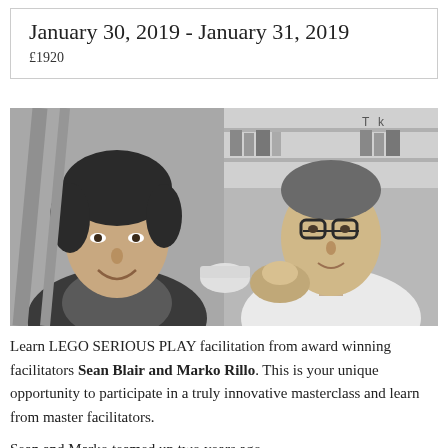January 30, 2019 - January 31, 2019
£1920
[Figure (photo): Black and white photo of two men side by side: on the left, a man with dark hair smiling; on the right, a man wearing glasses in a room with shelves.]
Learn LEGO SERIOUS PLAY facilitation from award winning facilitators Sean Blair and Marko Rillo. This is your unique opportunity to participate in a truly innovative masterclass and learn from master facilitators.
Sean and Marko teamed up two years ago